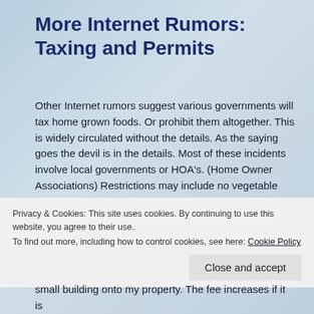More Internet Rumors: Taxing and Permits
Other Internet rumors suggest various governments will tax home grown foods. Or prohibit them altogether. This is widely circulated without the details. As the saying goes the devil is in the details. Most of these incidents involve local governments or HOA’s. (Home Owner Associations) Restrictions may include no vegetable gardens in alley ways or front yards. Plus any seed packets are usually taxed. As are plants from the nurseries or the Big Box stores.
At the moment, I have had no push back for my big garden which is in my side yard. But I am proactive. A fence now...
Privacy & Cookies: This site uses cookies. By continuing to use this website, you agree to their use.
To find out more, including how to control cookies, see here: Cookie Policy
small building onto my property. The fee increases if it is